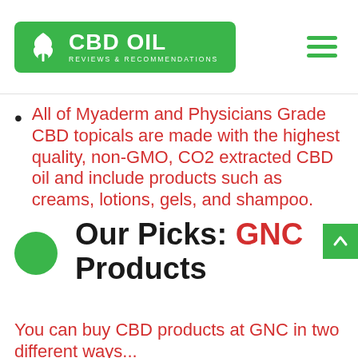CBD OIL REVIEWS & RECOMMENDATIONS
All of Myaderm and Physicians Grade CBD topicals are made with the highest quality, non-GMO, CO2 extracted CBD oil and include products such as creams, lotions, gels, and shampoo.
Our Picks: GNC Products
You can buy CBD products at GNC in two different ways...